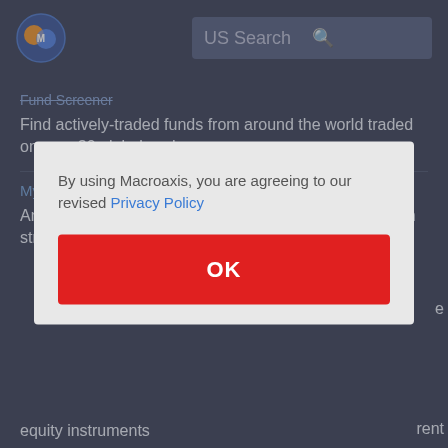[Figure (screenshot): Macroaxis website screenshot with dark navy background, logo, and US Search bar]
US Search
Fund Screener
Find actively-traded funds from around the world traded on over 30 global exchanges
My Watchlist Analysis
Analyze my current watchlist and to refresh optimization strategy. Macroaxis watchlist is based on
By using Macroaxis, you are agreeing to our revised Privacy Policy
OK
equity instruments